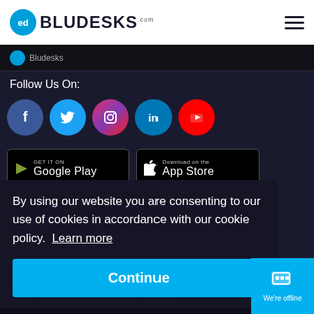[Figure (logo): BluDesks logo with blue circle icon and company name]
[Figure (infographic): Hamburger menu icon (three horizontal lines)]
BluDesks
Follow Us On:
[Figure (infographic): Social media icons row: Facebook, Twitter, Instagram, LinkedIn, YouTube]
[Figure (infographic): GET IT ON Google Play app store button]
[Figure (infographic): Download on the App Store button]
By using our website you are consenting to our use of cookies in accordance with our cookie policy.  Learn more
Continue
BL... company number 12104201 at 93 Mortimer Street, London W1... Website T&C | Website Policy | Privacy Policy | Cookies P...
We're offline